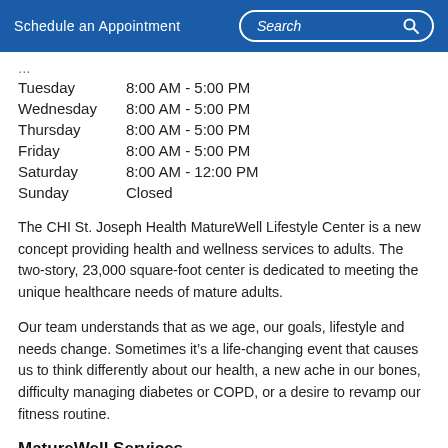Schedule an Appointment    Search
Tuesday    8:00 AM - 5:00 PM
Wednesday  8:00 AM - 5:00 PM
Thursday   8:00 AM - 5:00 PM
Friday     8:00 AM - 5:00 PM
Saturday   8:00 AM - 12:00 PM
Sunday     Closed
The CHI St. Joseph Health MatureWell Lifestyle Center is a new concept providing health and wellness services to adults. The two-story, 23,000 square-foot center is dedicated to meeting the unique healthcare needs of mature adults.
Our team understands that as we age, our goals, lifestyle and needs change. Sometimes it’s a life-changing event that causes us to think differently about our health, a new ache in our bones, difficulty managing diabetes or COPD, or a desire to revamp our fitness routine.
MatureWell Services